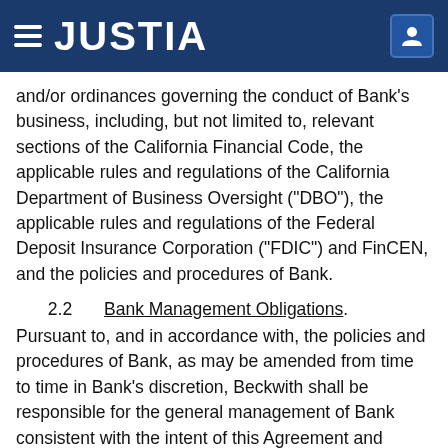JUSTIA
and/or ordinances governing the conduct of Bank's business, including, but not limited to, relevant sections of the California Financial Code, the applicable rules and regulations of the California Department of Business Oversight (“DBO”), the applicable rules and regulations of the Federal Deposit Insurance Corporation (“FDIC”) and FinCEN, and the policies and procedures of Bank.
2.2     Bank Management Obligations.
Pursuant to, and in accordance with, the policies and procedures of Bank, as may be amended from time to time in Bank’s discretion, Beckwith shall be responsible for the general management of Bank consistent with the intent of this Agreement and sound business practices. Beckwith shall assist Bank in (1) the creation, maintenance and monitoring of Bank’s relationships to ensure the legal and ethical conduct of business, (2) the